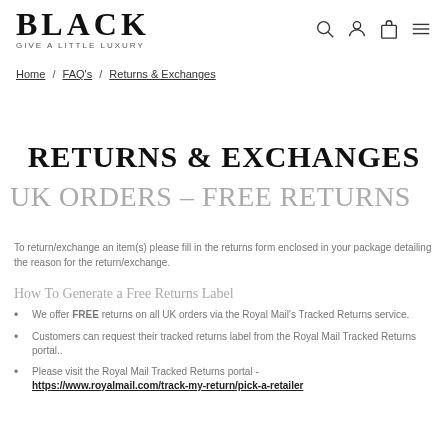BLACK — Give a Little Luxury
Home / FAQ's / Returns & Exchanges
RETURNS & EXCHANGES
UK ORDERS – FREE RETURNS
To return/exchange an item(s) please fill in the returns form enclosed in your package detailing the reason for the return/exchange.
How To Generate a Free Returns Label
We offer FREE returns on all UK orders via the Royal Mail's Tracked Returns service.
Customers can request their tracked returns label from the Royal Mail Tracked Returns portal..
Please visit the Royal Mail Tracked Returns portal - https://www.royalmail.com/track-my-return/pick-a-retailer